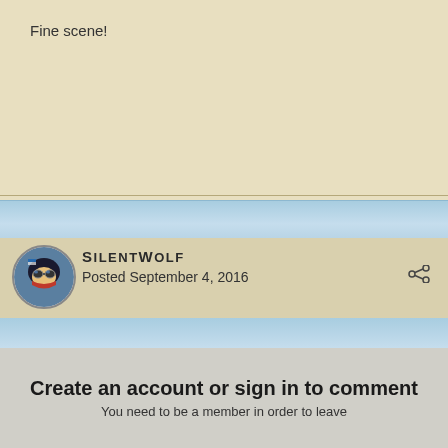Fine scene!
SilentWolf
Posted September 4, 2016
This is a great build showing a hold. The cutaway works amazingly with this scene. Also a great story that keeps us waiting for more!
Create an account or sign in to comment
You need to be a member in order to leave